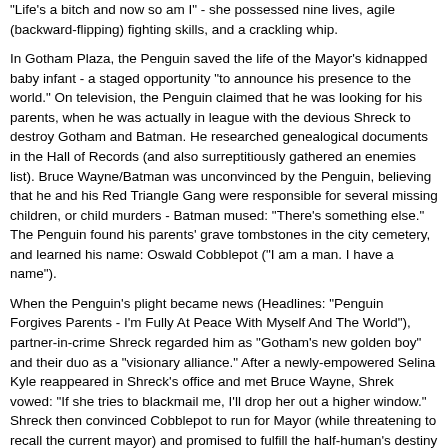"Life's a bitch and now so am I" - she possessed nine lives, agile (backward-flipping) fighting skills, and a crackling whip.
In Gotham Plaza, the Penguin saved the life of the Mayor's kidnapped baby infant - a staged opportunity "to announce his presence to the world." On television, the Penguin claimed that he was looking for his parents, when he was actually in league with the devious Shreck to destroy Gotham and Batman. He researched genealogical documents in the Hall of Records (and also surreptitiously gathered an enemies list). Bruce Wayne/Batman was unconvinced by the Penguin, believing that he and his Red Triangle Gang were responsible for several missing children, or child murders - Batman mused: "There's something else." The Penguin found his parents' grave tombstones in the city cemetery, and learned his name: Oswald Cobblepot ("I am a man. I have a name").
When the Penguin's plight became news (Headlines: "Penguin Forgives Parents - I'm Fully At Peace With Myself And The World"), partner-in-crime Shreck regarded him as "Gotham's new golden boy" and their duo as a "visionary alliance." After a newly-empowered Selina Kyle reappeared in Shreck's office and met Bruce Wayne, Shrek vowed: "If she tries to blackmail me, I'll drop her out a higher window." Shreck then convinced Cobblepot to run for Mayor (while threatening to recall the current mayor) and promised to fulfill the half-human's destiny that was carelessly discarded by his parents. He would play on public sympathy and the Penguin's own delusions of grandeur. Meanwhile, Batman battled against the Penguin's Red Triangle Gang as they terrorized the city - it was all part